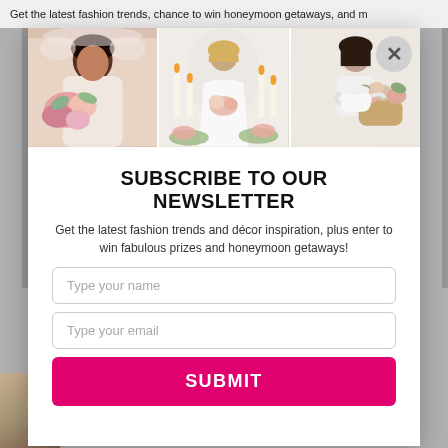Get the latest fashion trends, chance to win honeymoon getaways, and m
[Figure (photo): Three wedding-themed photos: woman with floral bouquet, bride with candles, woman with flowers in basket]
SUBSCRIBE TO OUR NEWSLETTER
Get the latest fashion trends and décor inspiration, plus enter to win fabulous prizes and honeymoon getaways!
Type your name
Type your email
SUBMIT